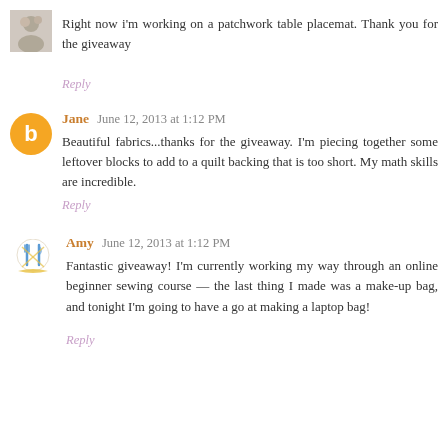[Figure (photo): Small user avatar photo thumbnail in top left corner]
Right now i'm working on a patchwork table placemat. Thank you for the giveaway
Reply
[Figure (logo): Orange circle with white Blogger 'b' logo icon]
Jane June 12, 2013 at 1:12 PM
Beautiful fabrics...thanks for the giveaway. I'm piecing together some leftover blocks to add to a quilt backing that is too short. My math skills are incredible.
Reply
[Figure (illustration): Crossed fork and knife utensils icon with a decorative banner, Amy's avatar]
Amy June 12, 2013 at 1:12 PM
Fantastic giveaway! I'm currently working my way through an online beginner sewing course — the last thing I made was a make-up bag, and tonight I'm going to have a go at making a laptop bag!
Reply